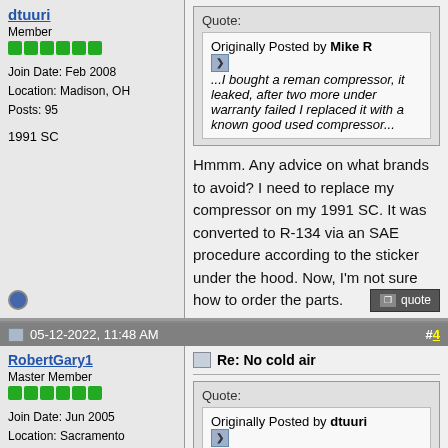dtuuri - Member
Join Date: Feb 2008
Location: Madison, OH
Posts: 95
1991 SC
Quote: Originally Posted by Mike R - ...I bought a reman compressor, it leaked, after two more under warranty failed I replaced it with a known good used compressor...
Hmmm. Any advice on what brands to avoid? I need to replace my compressor on my 1991 SC. It was converted to R-134 via an SAE procedure according to the sticker under the hood. Now, I'm not sure how to order the parts.
05-12-2022, 11:48 AM  #4
RobertGary1 - Master Member
Join Date: Jun 2005
Location: Sacramento
Posts: 4,350
Re: No cold air
Quote: Originally Posted by dtuuri - Hmmm. Any advice on what...